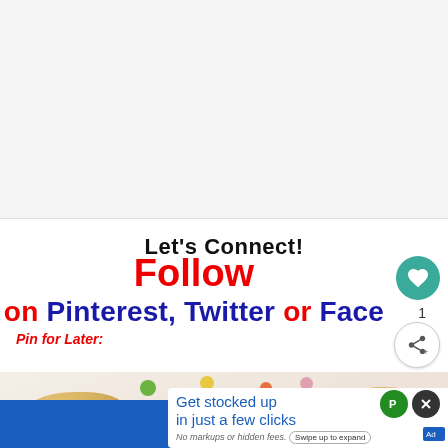Let's Connect!
Follow on Pinterest, Twitter or Facebook
Pin for Later:
[Figure (screenshot): Social media blog post screenshot with 'Let's Connect!' heading, Follow text in red, Pinterest/Twitter/Facebook links in blue and red, Pin for Later label, heart and share buttons on the right, food image at bottom, and a Walmart ad overlay saying 'Get stocked up in just a few clicks. No markups or hidden fees.']